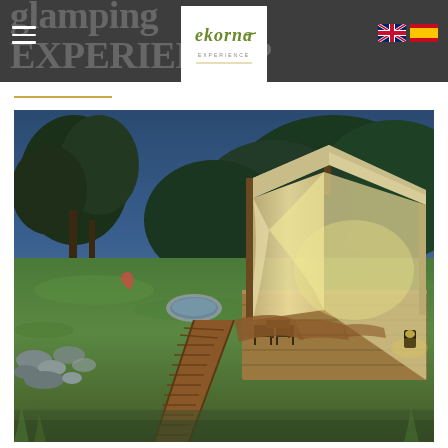glamping EXPERIENCE?
[Figure (logo): Ekorna Experience logo - white box with stylized handwritten text]
[Figure (illustration): Small UK flag icon]
[Figure (illustration): Small Spanish flag icon]
[Figure (photo): Glamping tent lodge with wooden boardwalk path leading to it through green grass and rocks, twilight lighting, trees in background, outdoor deck with furniture and hot tub]